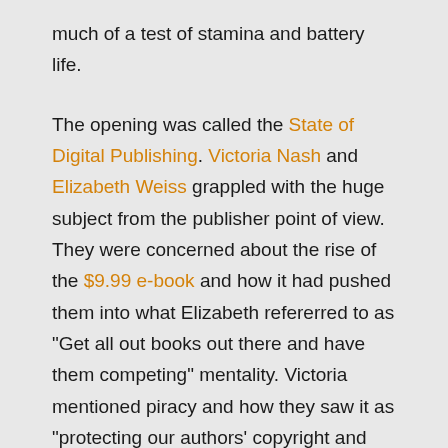much of a test of stamina and battery life.
The opening was called the State of Digital Publishing. Victoria Nash and Elizabeth Weiss grappled with the huge subject from the publisher point of view. They were concerned about the rise of the $9.99 e-book and how it had pushed them into what Elizabeth refererred to as "Get all out books out there and have them competing" mentality. Victoria mentioned piracy and how they saw it as "protecting our authors' copyright and obviously our revenues". It all looked very industry-focussed and I felt like the author was out of the picture.